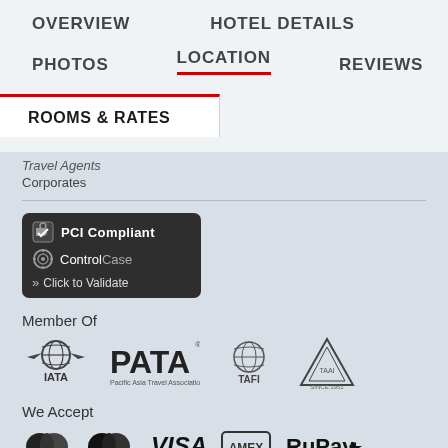OVERVIEW | HOTEL DETAILS | PHOTOS | LOCATION | REVIEWS
ROOMS & RATES
Travel Agents
Corporates
[Figure (logo): PCI Compliant - ControlCase - Click to Validate badge]
Member Of
[Figure (logo): Member organization logos: IATA, PATA (Pacific Asia Travel Association), TAFI, TAAI]
We Accept
[Figure (logo): Payment logos: MasterCard, Maestro, VISA, AMEX, RuPay]
Partners